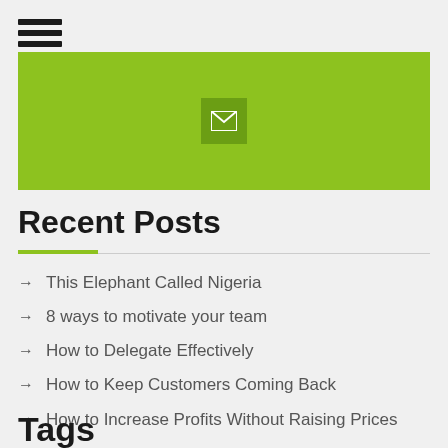[Figure (other): Hamburger menu icon with three horizontal black bars]
[Figure (other): Green banner with a darker green email/envelope icon button in the center]
Recent Posts
This Elephant Called Nigeria
8 ways to motivate your team
How to Delegate Effectively
How to Keep Customers Coming Back
How to Increase Profits Without Raising Prices
Tags